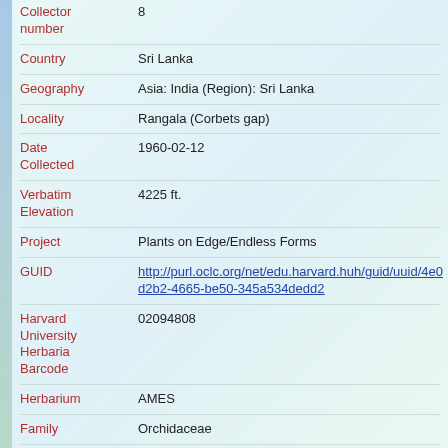| Field | Value |
| --- | --- |
| Collector number | 8 |
| Country | Sri Lanka |
| Geography | Asia: India (Region): Sri Lanka |
| Locality | Rangala (Corbets gap) |
| Date Collected | 1960-02-12 |
| Verbatim Elevation | 4225 ft. |
| Project | Plants on Edge/Endless Forms |
| GUID | http://purl.oclc.org/net/edu.harvard.huh/guid/uuid/4e0d2b2-4665-be50-345a534dedd2 |
| Harvard University Herbaria Barcode | 02094808 |
| Herbarium | AMES |
| Family | Orchidaceae |
| Determination | Adrorhizon purpurascens Hooker f. |
| Determination Remarks | [is filed under name] [is Current name] |
| Accession | AMES 88548 |